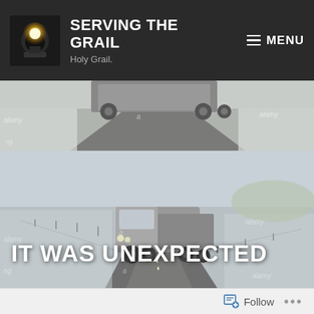SERVING THE GRAIL — Holy Grail. — MENU
[Figure (photo): Top image strip: partial view of a road/truck scene in winter landscape, Alamy watermark visible]
[Figure (photo): Large image of a semi-truck (big rig) driving on a rural highway through a snowy winter landscape, with Alamy watermarks. Overlay text: IT WAS UNEXPECTED]
IT WAS UNEXPECTED
Follow ...